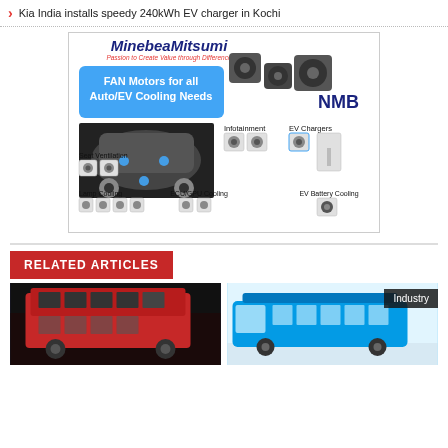Kia India installs speedy 240kWh EV charger in Kochi
[Figure (infographic): MinebeaMitsumi NMB advertisement showing FAN Motors for all Auto/EV Cooling Needs, with product images for Infotainment, Seat Ventilation, Lamp Cooling, ECU/GPU Cooling, EV Chargers, EV Battery Cooling applications]
RELATED ARTICLES
[Figure (photo): Red double-decker bus in a dark indoor setting]
[Figure (photo): Blue modern bus on a light background with Industry badge]